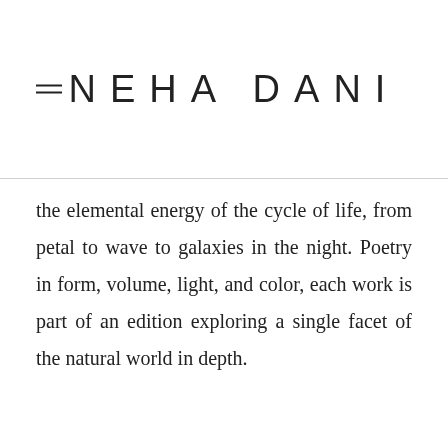≡  NEHA DANI
the elemental energy of the cycle of life, from petal to wave to galaxies in the night. Poetry in form, volume, light, and color, each work is part of an edition exploring a single facet of the natural world in depth.